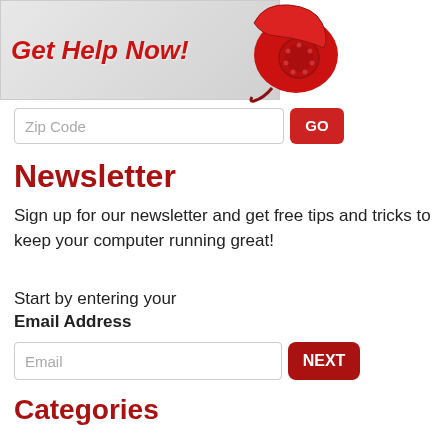[Figure (illustration): Red 'Get Help Now!' banner with a red rotary telephone image on the right side]
Zip Code
Newsletter
Sign up for our newsletter and get free tips and tricks to keep your computer running great!
Start by entering your
Email Address
Email
Categories
Internet
Viruses and Hoaxes
Computer Repair by Manufacturer